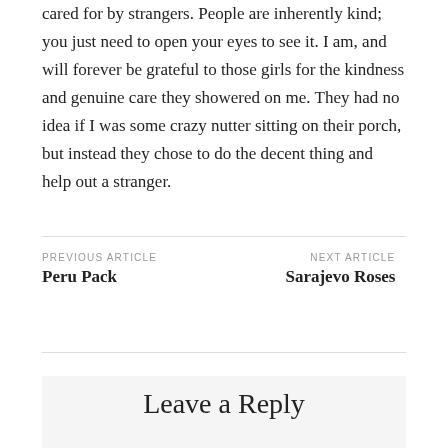cared for by strangers. People are inherently kind; you just need to open your eyes to see it. I am, and will forever be grateful to those girls for the kindness and genuine care they showered on me. They had no idea if I was some crazy nutter sitting on their porch, but instead they chose to do the decent thing and help out a stranger.
PREVIOUS ARTICLE
Peru Pack
NEXT ARTICLE
Sarajevo Roses
Leave a Reply